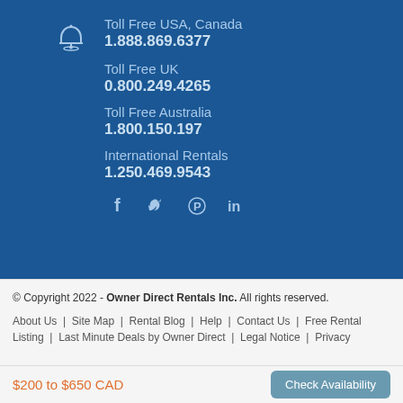Toll Free USA, Canada
1.888.869.6377
Toll Free UK
0.800.249.4265
Toll Free Australia
1.800.150.197
International Rentals
1.250.469.9543
[Figure (other): Social media icons: Facebook, Twitter, Pinterest, LinkedIn]
© Copyright 2022 - Owner Direct Rentals Inc. All rights reserved.
About Us | Site Map | Rental Blog | Help | Contact Us | Free Rental Listing | Last Minute Deals by Owner Direct | Legal Notice | Privacy
$200 to $650 CAD
Check Availability